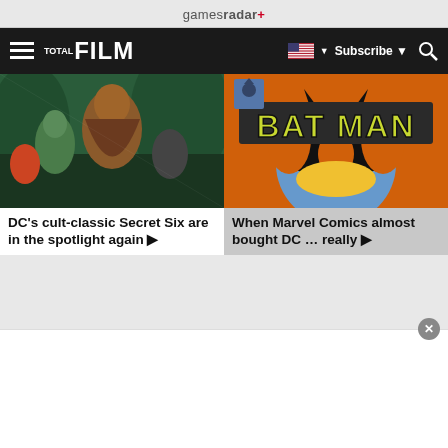gamesradar+
[Figure (screenshot): Navigation bar with TOTAL FILM logo, hamburger menu, US flag, Subscribe button, and search icon on black background]
[Figure (illustration): DC Secret Six comic book art showing superhero characters in action]
DC's cult-classic Secret Six are in the spotlight again ▶
[Figure (illustration): Batman comic book cover with orange/red background and Batman logo text]
When Marvel Comics almost bought DC … really ▶